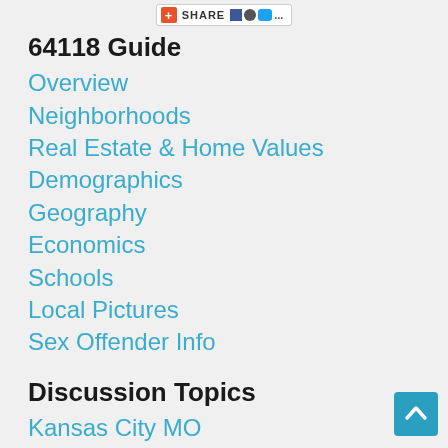SHARE
64118 Guide
Overview
Neighborhoods
Real Estate & Home Values
Demographics
Geography
Economics
Schools
Local Pictures
Sex Offender Info
Discussion Topics
Kansas City MO
Politics
Crime
Children
Lost Pets
Landscaping